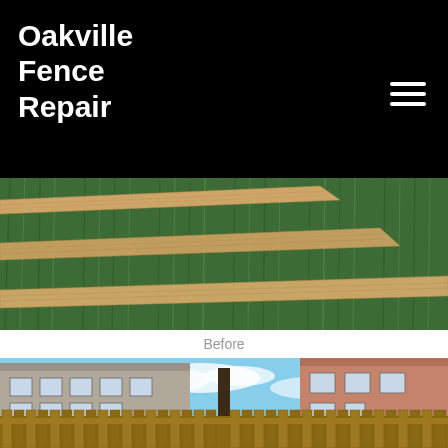Oakville Fence Repair
[Figure (photo): Before photo: wooden fence boards/lumber lying in lush green grass, viewed from above]
Before
[Figure (photo): After photo: newly installed wooden privacy fence between residential houses with blue sky in background]